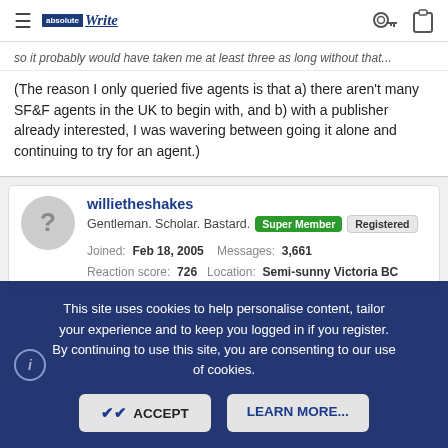AbsoluteWrite logo and navigation icons
so it probably would have taken me at least three as long without that...
(The reason I only queried five agents is that a) there aren't many SF&F agents in the UK to begin with, and b) with a publisher already interested, I was wavering between going it alone and continuing to try for an agent.)
willietheshakes
Gentleman. Scholar. Bastard. [Super Member] [Registered]
Joined: Feb 18, 2005  Messages: 3,661
Reaction score: 726  Location: Semi-sunny Victoria BC
This site uses cookies to help personalise content, tailor your experience and to keep you logged in if you register. By continuing to use this site, you are consenting to our use of cookies.